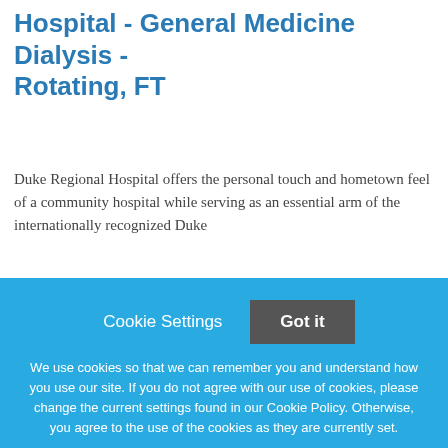Nursing Care Assistant I - Duke Regional Hospital - General Medicine Dialysis - Rotating, FT
Duke Regional Hospital offers the personal touch and hometown feel of a community hospital while serving as an essential arm of the internationally recognized Duke University Health System. Duke Regional has served
This job listing is no longer active.
Cookie Settings   Got it
We use cookies so that we can remember you and understand how you use our site. If you do not agree with our use of cookies, please change the current settings found in our Cookie Policy. Otherwise, you agree to the use of the cookies as they are currently set.